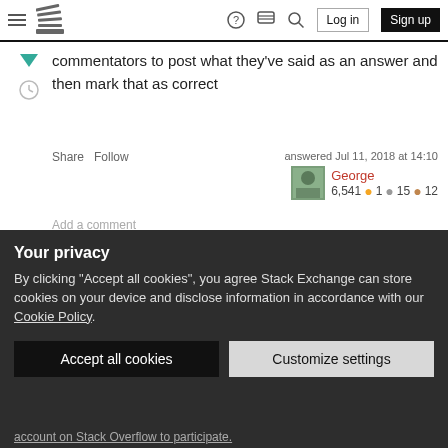Stack Exchange navigation bar with hamburger menu, logo, help, chat, search icons, Log in and Sign up buttons
commentators to post what they've said as an answer and then mark that as correct
Share Follow
answered Jul 11, 2018 at 14:10 George 6,541 ●1 ●15 ●12
Add a comment
You must log in to answer this question.
Not the answer you're looking for? Browse other questions
Your privacy
By clicking "Accept all cookies", you agree Stack Exchange can store cookies on your device and disclose information in accordance with our Cookie Policy.
Accept all cookies  Customize settings
account on Stack Overflow to participate.